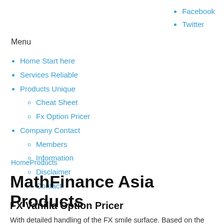Facebook
Twitter
Menu
Home Start here
Services Reliable
Products Unique
Cheat Sheet
Fx Option Pricer
Company Contact
Members
Information
Disclaimer
Contact
HomeProducts
MathFinance Asia Products
FX Vanilla Option Pricer
With detailed handling of the FX smile surface. Based on the